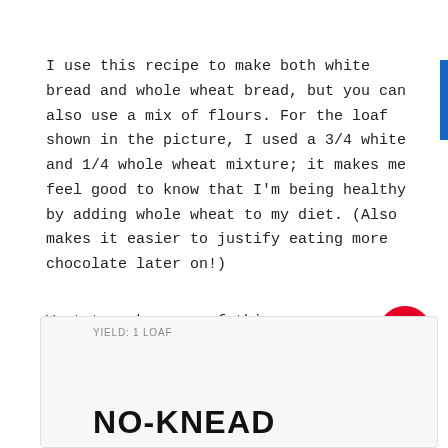I use this recipe to make both white bread and whole wheat bread, but you can also use a mix of flours. For the loaf shown in the picture, I used a 3/4 white and 1/4 whole wheat mixture; it makes me feel good to know that I'm being healthy by adding whole wheat to my diet. (Also makes it easier to justify eating more chocolate later on!)
Want to make some of this super-easy artisan bread? Let's!
YIELD: 1 LOAF
NO-KNEAD